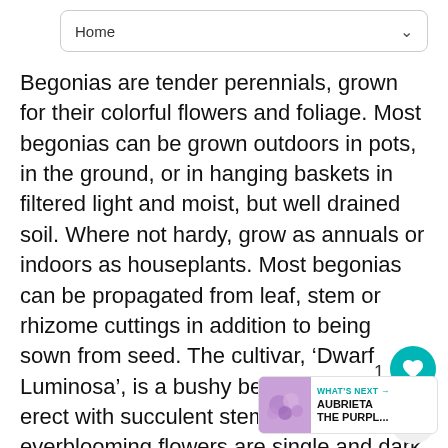Home
Begonias are tender perennials, grown for their colorful flowers and foliage. Most begonias can be grown outdoors in pots, in the ground, or in hanging baskets in filtered light and moist, but well drained soil. Where not hardy, grow as annuals or indoors as houseplants. Most begonias can be propagated from leaf, stem or rhizome cuttings in addition to being sown from seed. The cultivar, ‘Dwarf Luminosa’, is a bushy begonia that is erect with succulent stems. The many everblooming flowers are single and dark red in color. The green leaves are shiny, smooth and ovate. This p[lant prefers] filtered light but can take some sun in winter. Soil should ideally be moist. Begonia...